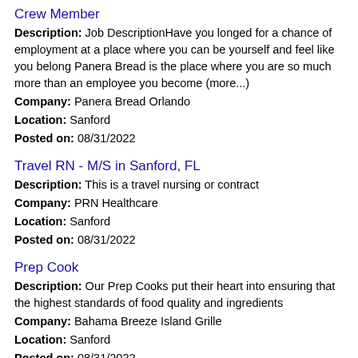Crew Member
Description: Job DescriptionHave you longed for a chance of employment at a place where you can be yourself and feel like you belong Panera Bread is the place where you are so much more than an employee you become (more...)
Company: Panera Bread Orlando
Location: Sanford
Posted on: 08/31/2022
Travel RN - M/S in Sanford, FL
Description: This is a travel nursing or contract
Company: PRN Healthcare
Location: Sanford
Posted on: 08/31/2022
Prep Cook
Description: Our Prep Cooks put their heart into ensuring that the highest standards of food quality and ingredients
Company: Bahama Breeze Island Grille
Location: Sanford
Posted on: 08/31/2022
Collision Parts Specialist